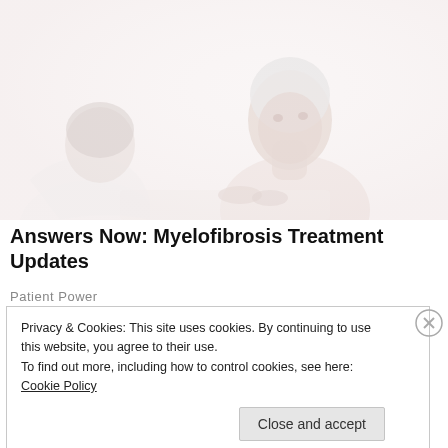[Figure (photo): A faded/washed-out photo of an elderly woman speaking with a healthcare professional (doctor or nurse) in a medical or clinical setting. The image has a very light, high-key exposure giving it a soft, pale appearance.]
Answers Now: Myelofibrosis Treatment Updates
Patient Power
Privacy & Cookies: This site uses cookies. By continuing to use this website, you agree to their use.
To find out more, including how to control cookies, see here: Cookie Policy
Close and accept